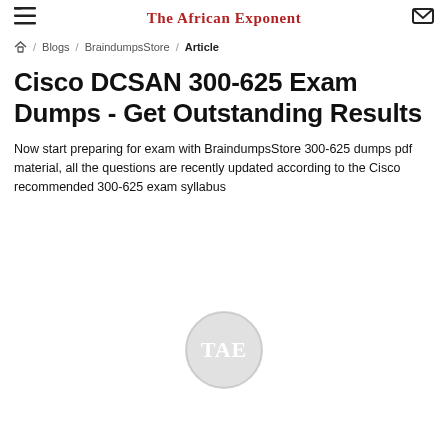The African Exponent
🏠 / Blogs / BraindumpsStore / Article
Cisco DCSAN 300-625 Exam Dumps - Get Outstanding Results
Now start preparing for exam with BraindumpsStore 300-625 dumps pdf material, all the questions are recently updated according to the Cisco recommended 300-625 exam syllabus
[Figure (logo): TAE circular logo watermark in light grey]